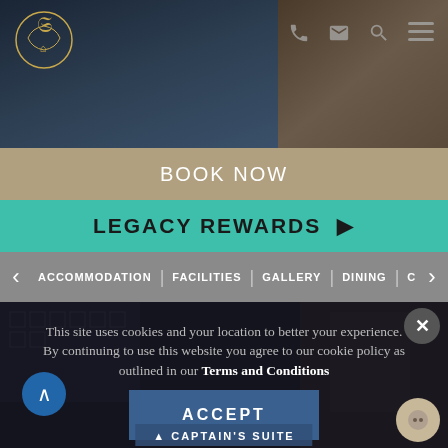[Figure (screenshot): Hotel website header showing a room interior background image with a decorative logo on the left and navigation icons (phone, email, search, menu) on the right]
BOOK NOW
LEGACY REWARDS ▶
ACCOMMODATION | FACILITIES | GALLERY | DINING | CONFERENCING
[Figure (photo): Darkened hotel room interior showing patterned cushions and a chair]
This site uses cookies and your location to better your experience. By continuing to use this website you agree to our cookie policy as outlined in our Terms and Conditions
ACCEPT
CAPTAIN'S SUITE